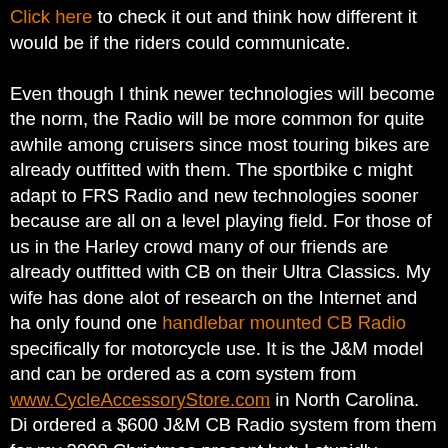Click here to check it out and think how different it would be if these riders could communicate. Even though I think newer technologies will become the norm, the Radio will be more common for quite awhile among cruisers since most touring bikes are already outfitted with them. The sportbike crowd might adapt to FRS Radio and new technologies sooner because they are all on a level playing field. For those of us in the Harley crowd, many of our friends are already outfitted with CB on their Ultra Classics. My wife has done alot of research on the Internet and has only found one handlebar mounted CB Radio specifically for motorcycle use. It is the J&M model and can be ordered as a complete system from www.CycleAccessoryStore.com in North Carolina. Di ordered a $600 J&M CB Radio system from them for my 2008 Christmas present but; I stupidly exchanged it for two Chatterbox units. The Chatterbox system was half the price of the J&M and was supposed to be voice activiated. I thought that the hands free VOX system would be better than PTT (Push to Talk). Although the FRS radios wouldn't allow us to communicate with our friends on CB, I thought it was more important that Diana and I be able to communicate. The Chatterbox units we received didn't work well a